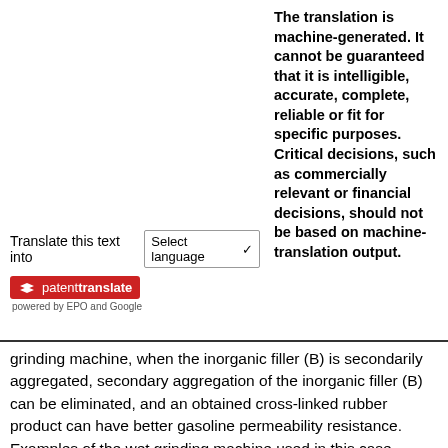The translation is machine-generated. It cannot be guaranteed that it is intelligible, accurate, complete, reliable or fit for specific purposes. Critical decisions, such as commercially relevant or financial decisions, should not be based on machine-translation output.
Translate this text into  Select language
[Figure (logo): patenttranslate badge - red background with arrow icon, text 'patenttranslate', subtext 'powered by EPO and Google']
grinding machine, when the inorganic filler (B) is secondarily aggregated, secondary aggregation of the inorganic filler (B) can be eliminated, and an obtained cross-linked rubber product can have better gasoline permeability resistance. Examples of the wet grinding machine used in this case